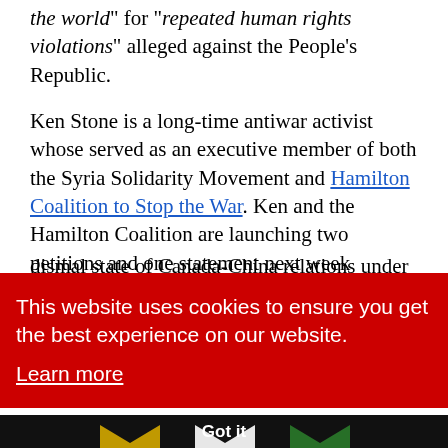the world" for "repeated human rights violations" alleged against the People's Republic.
Ken Stone is a long-time antiwar activist whose served as an executive member of both the Syria Solidarity Movement and Hamilton Coalition to Stop the War. Ken and the Hamilton Coalition are launching two petitions and one statement next week regarding the dismal state of Canada-China relations under
This website uses cookies to ensure you get the best experience on our website. Learn more
Got it